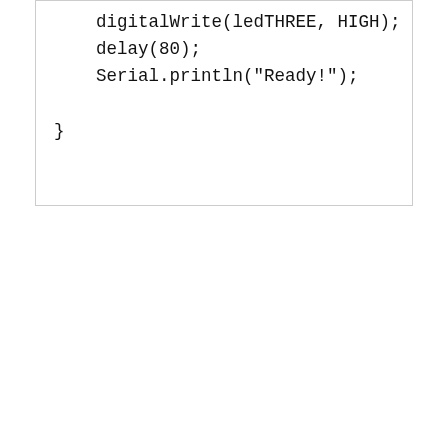digitalWrite(ledTHREE, HIGH);
    delay(80);
    Serial.println("Ready!");

}